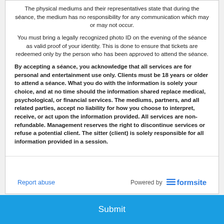The physical mediums and their representatives state that during the séance, the medium has no responsibility for any communication which may or may not occur.
You must bring a legally recognized photo ID on the evening of the séance as valid proof of your identity. This is done to ensure that tickets are redeemed only by the person who has been approved to attend the séance.
By accepting a séance, you acknowledge that all services are for personal and entertainment use only. Clients must be 18 years or older to attend a séance. What you do with the information is solely your choice, and at no time should the information shared replace medical, psychological, or financial services. The mediums, partners, and all related parties, accept no liability for how you choose to interpret, receive, or act upon the information provided. All services are non-refundable. Management reserves the right to discontinue services or refuse a potential client. The sitter (client) is solely responsible for all information provided in a session.
Report abuse   Powered by formsite
Submit